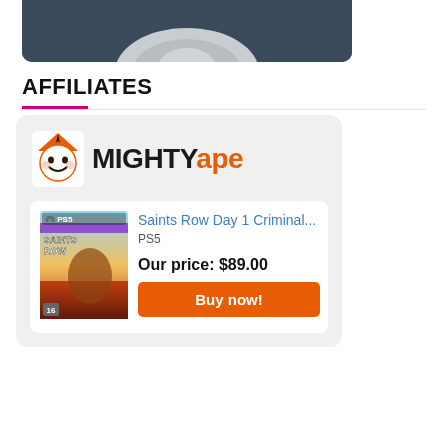[Figure (photo): Top portion of a dark gray/slate colored gaming controller (PS5 DualSense) against a dark background, partially cropped]
AFFILIATES
[Figure (logo): Mighty Ape logo with cartoon ape mascot icon and text 'MIGHTYape' in black and orange]
[Figure (photo): Saints Row Day 1 Criminal PS5 game cover showing colorful artwork]
Saints Row Day 1 Criminal...
PS5
Our price: $89.00
Buy now!